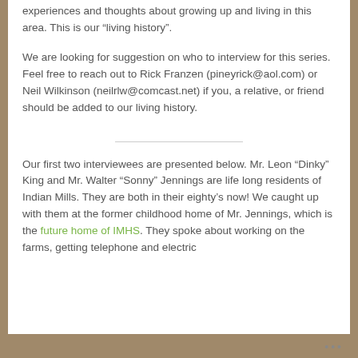experiences and thoughts about growing up and living in this area. This is our “living history”.
We are looking for suggestion on who to interview for this series. Feel free to reach out to Rick Franzen (pineyrick@aol.com) or Neil Wilkinson (neilrlw@comcast.net) if you, a relative, or friend should be added to our living history.
Our first two interviewees are presented below. Mr. Leon “Dinky” King and Mr. Walter “Sonny” Jennings are life long residents of Indian Mills. They are both in their eighty’s now! We caught up with them at the former childhood home of Mr. Jennings, which is the future home of IMHS. They spoke about working on the farms, getting telephone and electric
•••